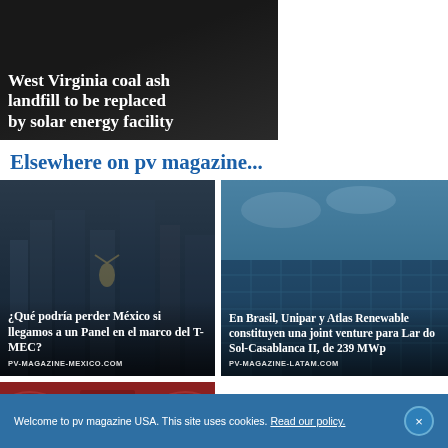[Figure (photo): Dark image with text overlay: West Virginia coal ash landfill to be replaced by solar energy facility]
Elsewhere on pv magazine...
[Figure (photo): Image of Mexico City with angel statue and skyscrapers. Overlay text: ¿Qué podría perder México si llegamos a un Panel en el marco del T-MEC? PV-MAGAZINE-MEXICO.COM]
[Figure (photo): Aerial image of solar farm. Overlay text: En Brasil, Unipar y Atlas Renewable constituyen una joint venture para Lar do Sol-Casablanca II, de 239 MWp. PV-MAGAZINE-LATAM.COM]
[Figure (photo): Image of a red folder/book with logo and text PREMIO DE LA]
Welcome to pv magazine USA. This site uses cookies. Read our policy.